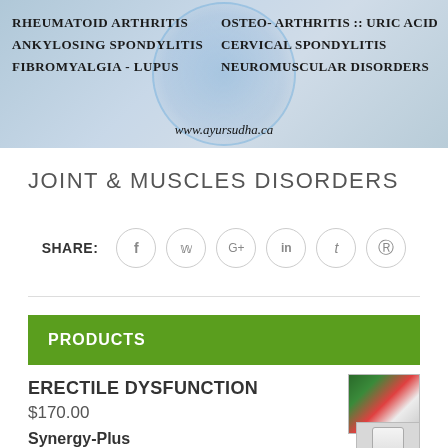[Figure (illustration): Banner image with skeleton/joint background showing conditions: RHEUMATOID ARTHRITIS, ANKYLOSING SPONDYLITIS, FIBROMYALGIA - LUPUS on left; OSTEO-ARTHRITIS :: URIC ACID, CERVICAL SPONDYLITIS, NEUROMUSCULAR DISORDERS on right; www.ayursudha.ca at bottom]
JOINT & MUSCLES DISORDERS
SHARE: [social media icons: Facebook, Twitter, Google+, LinkedIn, Tumblr, Pinterest]
PRODUCTS
ERECTILE DYSFUNCTION
$170.00
Synergy-Plus
$69.99